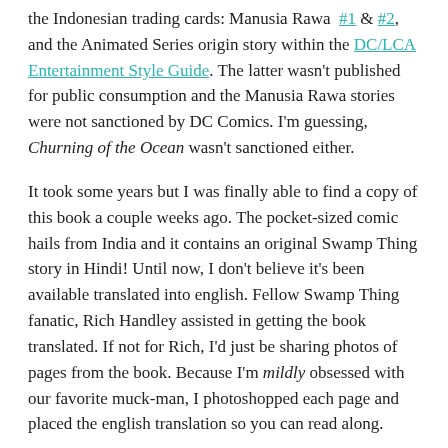the Indonesian trading cards: Manusia Rawa #1 & #2, and the Animated Series origin story within the DC/LCA Entertainment Style Guide. The latter wasn't published for public consumption and the Manusia Rawa stories were not sanctioned by DC Comics. I'm guessing, Churning of the Ocean wasn't sanctioned either.
It took some years but I was finally able to find a copy of this book a couple weeks ago. The pocket-sized comic hails from India and it contains an original Swamp Thing story in Hindi! Until now, I don't believe it's been available translated into english. Fellow Swamp Thing fanatic, Rich Handley assisted in getting the book translated. If not for Rich, I'd just be sharing photos of pages from the book. Because I'm mildly obsessed with our favorite muck-man, I photoshopped each page and placed the english translation so you can read along.